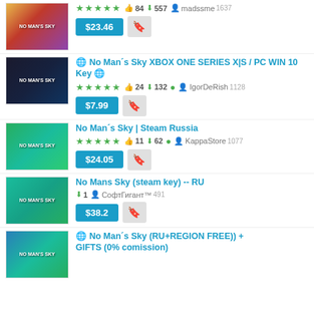[Figure (screenshot): No Man's Sky product thumbnail 1]
★★★★★ 👍84 ⬇557 madssme 1637 $23.46
[Figure (screenshot): No Man's Sky XBOX ONE product thumbnail]
🌐 No Man´s Sky XBOX ONE SERIES X|S / PC WIN 10 Key 🌐 ★★★★★ 👍24 ⬇132 🟢 IgorDeRish 1128 $7.99
[Figure (screenshot): No Man's Sky Steam Russia product thumbnail]
No Man´s Sky | Steam Russia ★★★★★ 👍11 ⬇62 🟢 KappaStore 1077 $24.05
[Figure (screenshot): No Mans Sky steam key RU product thumbnail]
No Mans Sky (steam key) -- RU ⬇1 СофтГигант™ 491 $38.2
[Figure (screenshot): No Man's Sky RU+REGION FREE product thumbnail]
🌐 No Man´s Sky (RU+REGION FREE)) + GIFTS (0% comission)